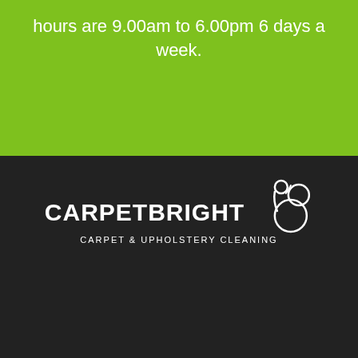hours are 9.00am to 6.00pm 6 days a week.
[Figure (logo): CarpetBright logo with soap bubble/circle graphic to the right of the text, showing company name CARPETBRIGHT in white bold letters and tagline CARPET & UPHOLSTERY CLEANING below, on dark background]